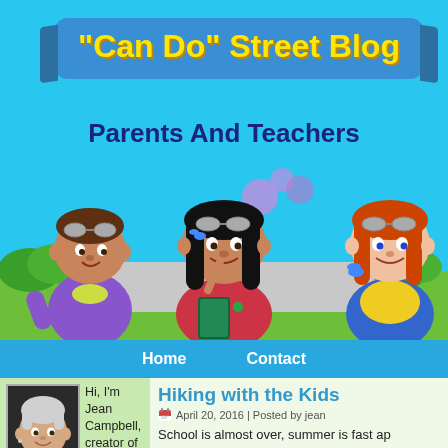"Can Do" Street Blog
Parents And Teachers
[Figure (illustration): Three cartoon children characters from Can Do Street: a boy on left, a girl in center holding a book, and a girl on right with red hair, set against a blue sky and green ground background]
Home  Contact
[Figure (photo): Headshot photo of Jean Campbell, an older woman with short grey hair, smiling]
Hi, I'm Jean Campbell, creator of "Can Do" Street. Welcome to the "Can Do"
Hiking with the Kids
April 20, 2016 | Posted by jean
School is almost over, summer is fast ap togethers, reunions, vacations and barb these events may take place in a park